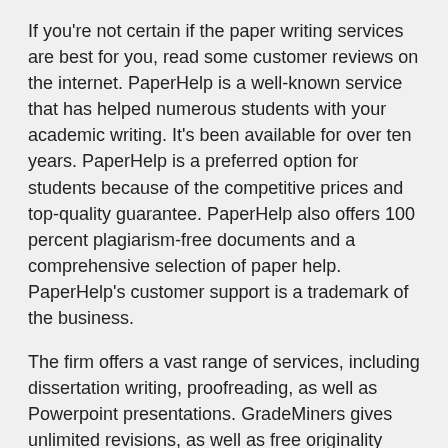If you're not certain if the paper writing services are best for you, read some customer reviews on the internet. PaperHelp is a well-known service that has helped numerous students with your academic writing. It's been available for over ten years. PaperHelp is a preferred option for students because of the competitive prices and top-quality guarantee. PaperHelp also offers 100 percent plagiarism-free documents and a comprehensive selection of paper help. PaperHelp's customer support is a trademark of the business.
The firm offers a vast range of services, including dissertation writing, proofreading, as well as Powerpoint presentations. GradeMiners gives unlimited revisions, as well as free originality reports within 30 days from the date of receipt of an purchase. They've got a great deal of years of experience and are extremely knowledgeable. They offer new customers a discount for their first order. So, if you're unsure regarding a writing service then sign up for an unrestricted trial to check for pricing and other